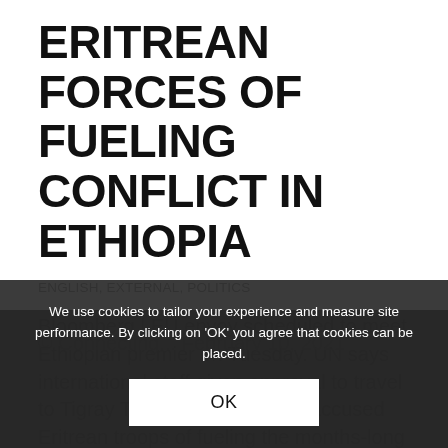ERITREAN FORCES OF FUELING CONFLICT IN ETHIOPIA
ENGLISH, EXTERNAL, POLITICS
Bloomberg | EU envoy scheduled to meet Ethiopian premier on Tuesday. UN says international staff given approval to travel to Tigray The European Union accused Eritrean troops of fueling the months-long conflict in Ethiopia's Tigray region...
We use cookies to tailor your experience and measure site performance. By clicking on 'OK' you agree that cookies can be placed.
OK
© Connecting... February 10, 2021